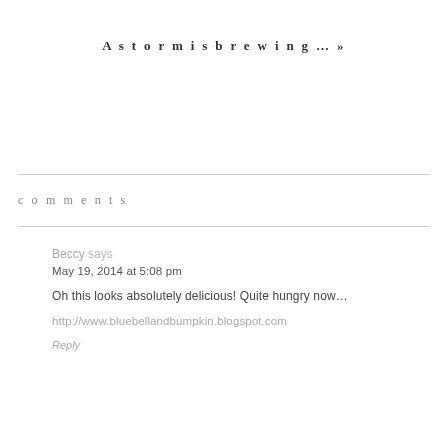A storm is brewing… »
comments
Beccy says
May 19, 2014 at 5:08 pm
Oh this looks absolutely delicious! Quite hungry now…
http://www.bluebelllandbumpkin.blogspot.com
Reply